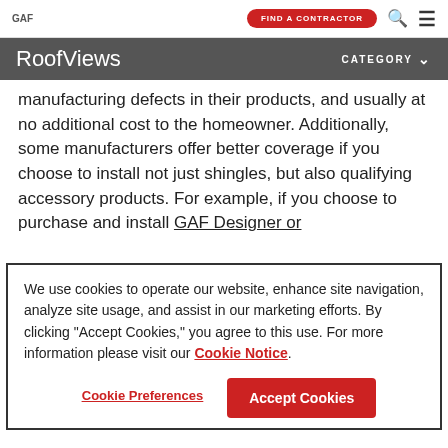GAF | RoofViews | FIND A CONTRACTOR
manufacturing defects in their products, and usually at no additional cost to the homeowner. Additionally, some manufacturers offer better coverage if you choose to install not just shingles, but also qualifying accessory products. For example, if you choose to purchase and install GAF Designer or
We use cookies to operate our website, enhance site navigation, analyze site usage, and assist in our marketing efforts. By clicking "Accept Cookies," you agree to this use. For more information please visit our Cookie Notice.
Cookie Preferences | Accept Cookies